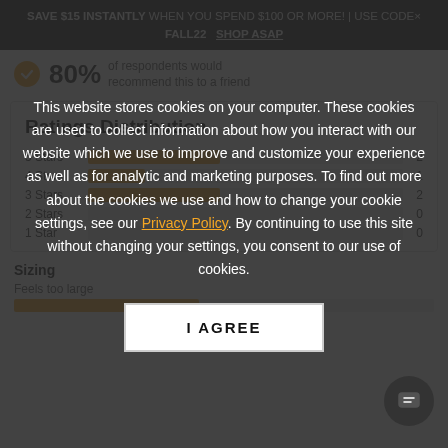SAVE $15 INSTANTLY WHEN YOU SPEND $100 OR MORE! | USE CODE× FALL22  SHOP ASAP
80% of respondents would recommend this to a friend
Ratings Distribution
[Figure (bar-chart): Ratings Distribution]
This website stores cookies on your computer. These cookies are used to collect information about how you interact with our website which we use to improve and customize your experience as well as for analytic and marketing purposes. To find out more about the cookies we use and how to change your cookie settings, see our Privacy Policy. By continuing to use this site without changing your settings, you consent to our use of cookies.
I AGREE
Sizing
Feels too large